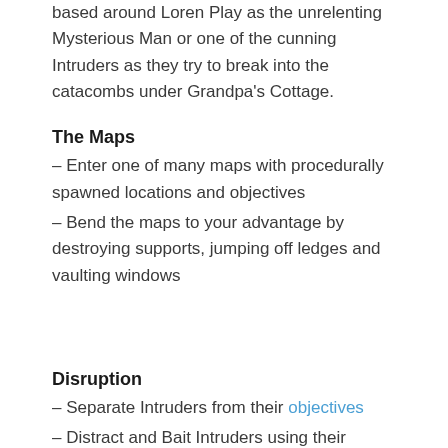based around Loren Play as the unrelenting Mysterious Man or one of the cunning Intruders as they try to break into the catacombs under Grandpa's Cottage.
The Maps
– Enter one of many maps with procedurally spawned locations and objectives
– Bend the maps to your advantage by destroying supports, jumping off ledges and vaulting windows
Disruption
– Separate Intruders from their objectives
– Distract and Bait Intruders using their Teammates
Protection
– Defend the objectives at all costs
– Remove Objectives with different abilities